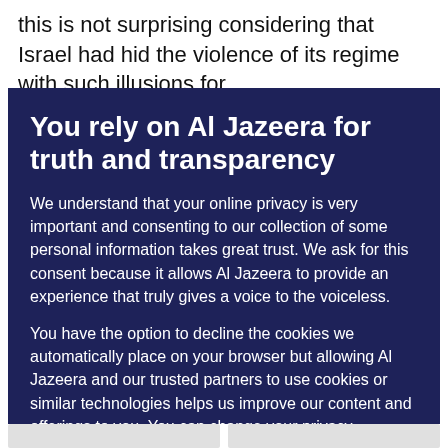this is not surprising considering that Israel had hid the violence of its regime with such illusions for
You rely on Al Jazeera for truth and transparency
We understand that your online privacy is very important and consenting to our collection of some personal information takes great trust. We ask for this consent because it allows Al Jazeera to provide an experience that truly gives a voice to the voiceless.
You have the option to decline the cookies we automatically place on your browser but allowing Al Jazeera and our trusted partners to use cookies or similar technologies helps us improve our content and offerings to you. You can change your privacy preferences at any time by selecting ‘Cookie preferences’ at the bottom of your screen. To learn more, please view our Cookie Policy.